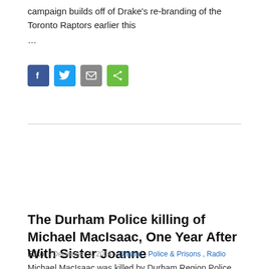campaign builds off of Drake's re-branding of the Toronto Raptors earlier this …
[Figure (other): Social media sharing icons: Facebook (blue), Twitter (light blue), Email (grey), Share (green)]
The Durham Police killing of Michael MacIsaac, One Year After With Sister Joanne
Editor - December 3, 2014 - Ontario , Police & Prisons , Radio
Michael MacIsaac was killed by Durham Region Police last year on